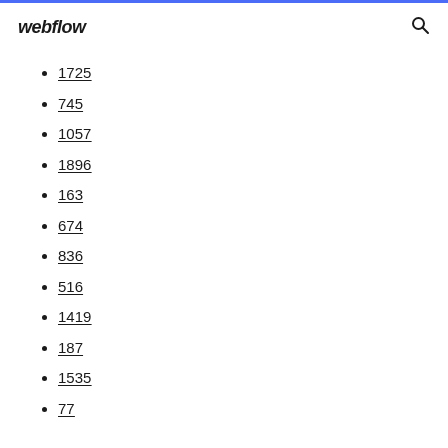webflow
1725
745
1057
1896
163
674
836
516
1419
187
1535
77